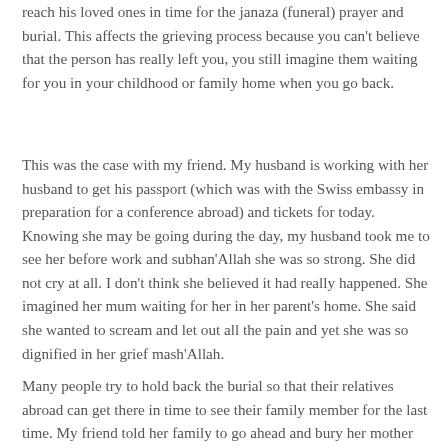reach his loved ones in time for the janaza (funeral) prayer and burial. This affects the grieving process because you can't believe that the person has really left you, you still imagine them waiting for you in your childhood or family home when you go back.
This was the case with my friend. My husband is working with her husband to get his passport (which was with the Swiss embassy in preparation for a conference abroad) and tickets for today. Knowing she may be going during the day, my husband took me to see her before work and subhan'Allah she was so strong. She did not cry at all. I don't think she believed it had really happened. She imagined her mum waiting for her in her parent's home. She said she wanted to scream and let out all the pain and yet she was so dignified in her grief mash'Allah.
Many people try to hold back the burial so that their relatives abroad can get there in time to see their family member for the last time. My friend told her family to go ahead and bury her mother without her, thinking that it would cause difficulty for her mother in the next life to delay burial. She was strong enough to not have the last look before burial.